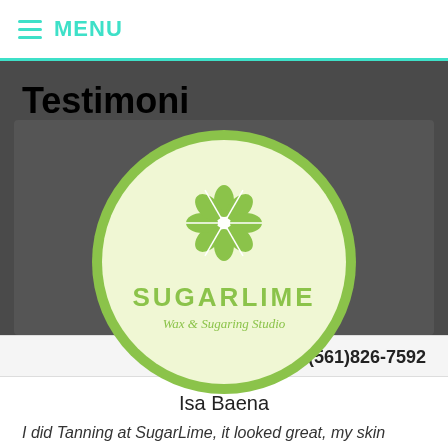MENU
Testimonials
[Figure (logo): SugarLime Wax & Sugaring Studio circular logo with green flower graphic and text]
Very professional... loved my new eyebrows.
(561)826-7592
Isa Baena
I did Tanning at SugarLime, it looked great, my skin